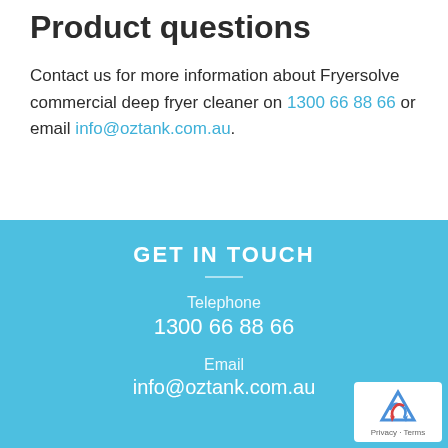Product questions
Contact us for more information about Fryersolve commercial deep fryer cleaner on 1300 66 88 66 or email info@oztank.com.au.
GET IN TOUCH
Telephone
1300 66 88 66
Email
info@oztank.com.au